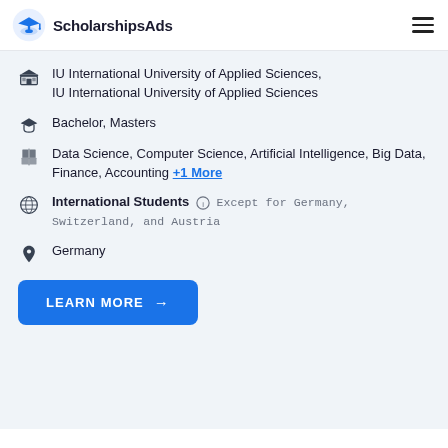ScholarshipsAds
IU International University of Applied Sciences, IU International University of Applied Sciences
Bachelor, Masters
Data Science, Computer Science, Artificial Intelligence, Big Data, Finance, Accounting +1 More
International Students (i) Except for Germany, Switzerland, and Austria
Germany
LEARN MORE →